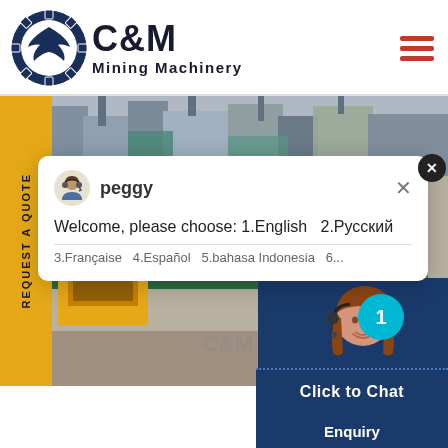[Figure (logo): C&M Mining Machinery logo with eagle gear emblem in navy blue circle, bold C&M text and Mining Machinery subtitle]
[Figure (screenshot): Website screenshot showing C&M Mining Machinery webpage with a chat popup from agent named peggy. Message reads: Welcome, please choose: 1.English 2.Русский 3.Française 4.Español 5.bahasa Indonesia 6... A customer service representative photo is shown with Click to Chat and Enquiry buttons. Yellow sidebar with REQUEST A QUOTE text. Mining machinery equipment images in background.]